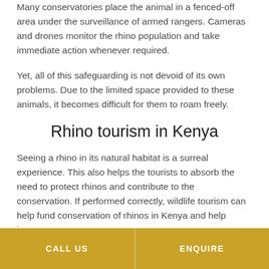Many conservatories place the animal in a fenced-off area under the surveillance of armed rangers. Cameras and drones monitor the rhino population and take immediate action whenever required.
Yet, all of this safeguarding is not devoid of its own problems. Due to the limited space provided to these animals, it becomes difficult for them to roam freely.
Rhino tourism in Kenya
Seeing a rhino in its natural habitat is a surreal experience. This also helps the tourists to absorb the need to protect rhinos and contribute to the conservation. If performed correctly, wildlife tourism can help fund conservation of rhinos in Kenya and help improve awareness.
CALL US | ENQUIRE